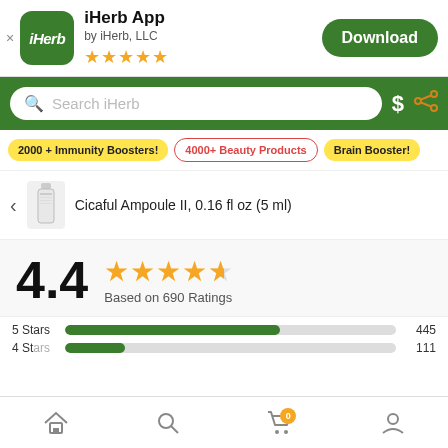[Figure (screenshot): iHerb app banner with logo, app name, developer, stars, and Download button]
[Figure (screenshot): Green search bar with search input field, dollar sign icon, and share icon]
2000 + Immunity Boosters!
4000+ Beauty Products
Brain Booster!
Cicaful Ampoule II, 0.16 fl oz (5 ml)
4.4
Based on 690 Ratings
5 Stars   445
4 Stars   111
[Figure (screenshot): Bottom navigation bar with home, search, cart (badge 0), and account icons]